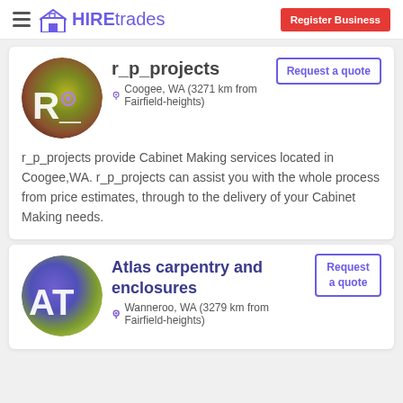HIREtrades — Register Business
r_p_projects
Coogee, WA (3271 km from Fairfield-heights)
Request a quote
r_p_projects provide Cabinet Making services located in Coogee,WA. r_p_projects can assist you with the whole process from price estimates, through to the delivery of your Cabinet Making needs.
Atlas carpentry and enclosures
Wanneroo, WA (3279 km from Fairfield-heights)
Request a quote